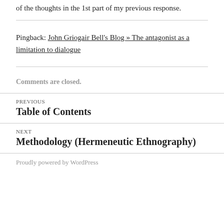of the thoughts in the 1st part of my previous response.
Pingback: John Griogair Bell's Blog » The antagonist as a limitation to dialogue
Comments are closed.
PREVIOUS
Table of Contents
NEXT
Methodology (Hermeneutic Ethnography)
Proudly powered by WordPress